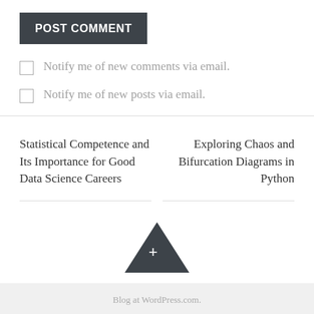POST COMMENT
Notify me of new comments via email.
Notify me of new posts via email.
Statistical Competence and Its Importance for Good Data Science Careers
Exploring Chaos and Bifurcation Diagrams in Python
[Figure (other): Dark triangle/arrow button with a plus sign, used as a scroll-to-top or expand widget]
Blog at WordPress.com.